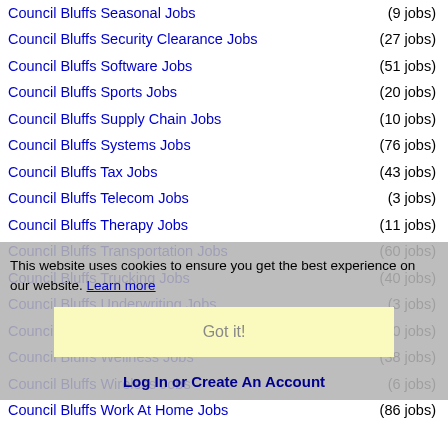Council Bluffs Seasonal Jobs (9 jobs)
Council Bluffs Security Clearance Jobs (27 jobs)
Council Bluffs Software Jobs (51 jobs)
Council Bluffs Sports Jobs (20 jobs)
Council Bluffs Supply Chain Jobs (10 jobs)
Council Bluffs Systems Jobs (76 jobs)
Council Bluffs Tax Jobs (43 jobs)
Council Bluffs Telecom Jobs (3 jobs)
Council Bluffs Therapy Jobs (11 jobs)
Council Bluffs Transportation Jobs (60 jobs)
Council Bluffs Trucking Jobs (40 jobs)
Council Bluffs Underwriting Jobs (3 jobs)
Council Bluffs Warehouse Jobs (10 jobs)
Council Bluffs Wellness Jobs (38 jobs)
Council Bluffs Wireless Jobs (6 jobs)
Council Bluffs Work At Home Jobs (86 jobs)
This website uses cookies to ensure you get the best experience on our website. Learn more
Got it!
Log In or Create An Account